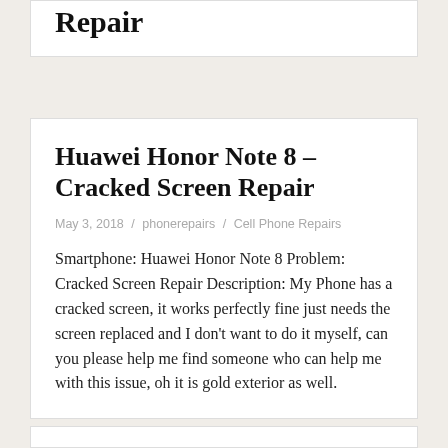Repair
Huawei Honor Note 8 – Cracked Screen Repair
May 3, 2018 / phonerepairs / Cell Phone Repairs
Smartphone: Huawei Honor Note 8 Problem: Cracked Screen Repair Description: My Phone has a cracked screen, it works perfectly fine just needs the screen replaced and I don't want to do it myself, can you please help me find someone who can help me with this issue, oh it is gold exterior as well.